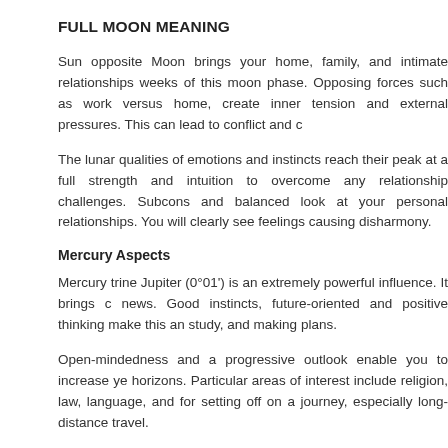FULL MOON MEANING
Sun opposite Moon brings your home, family, and intimate relationships weeks of this moon phase. Opposing forces such as work versus home, create inner tension and external pressures. This can lead to conflict and c
The lunar qualities of emotions and instincts reach their peak at a full strength and intuition to overcome any relationship challenges. Subcons and balanced look at your personal relationships. You will clearly see feelings causing disharmony.
Mercury Aspects
Mercury trine Jupiter (0°01') is an extremely powerful influence. It brings c news. Good instincts, future-oriented and positive thinking make this an study, and making plans.
Open-mindedness and a progressive outlook enable you to increase ye horizons. Particular areas of interest include religion, law, language, and for setting off on a journey, especially long-distance travel.
Making friends comes easy and mutually beneficial partnerships can dealings and legal matters should go well and this is the ideal time for c contracts.